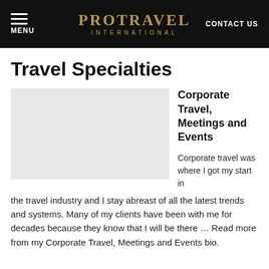PROTRAVEL INTERNATIONAL | MENU | CONTACT US
Travel Specialties
[Figure (photo): Gray placeholder image for a photo]
Corporate Travel, Meetings and Events
Corporate travel was where I got my start in the travel industry and I stay abreast of all the latest trends and systems. Many of my clients have been with me for decades because they know that I will be there … Read more from my Corporate Travel, Meetings and Events bio.